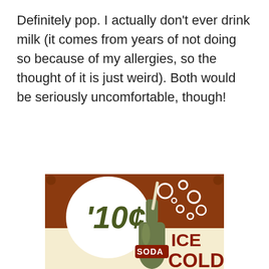Definitely pop. I actually don't ever drink milk (it comes from years of not doing so because of my allergies, so the thought of it is just weird). Both would be seriously uncomfortable, though!
[Figure (photo): Vintage retro soda advertisement sign with rust/brown background. Shows a green soda bottle with a straw, surrounded by white bubble circles. Large text '10¢' in dark olive green inside a white circle on the left. Bottom of bottle has 'SODA' label. Right side shows 'ICE COLD' in large dark red/brown letters on cream background.]